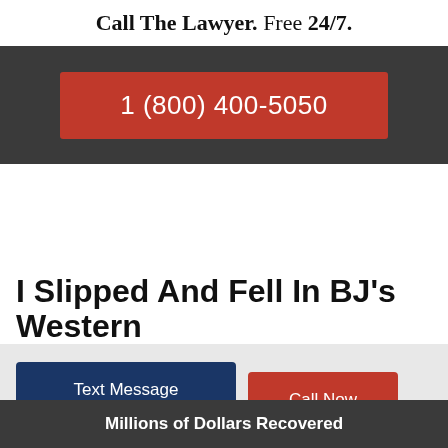Call The Lawyer. Free 24/7.
1 (800) 400-5050
I Slipped And Fell In BJ's Western
Text Message Lawyer
Call Now
Millions of Dollars Recovered